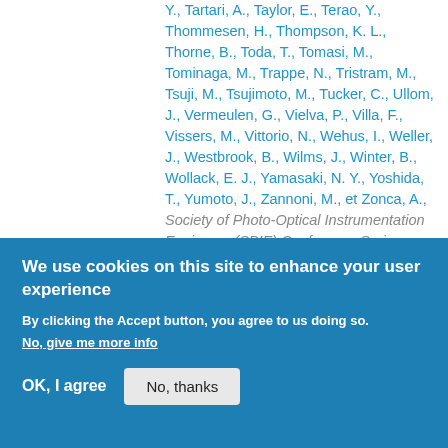Y., Tartari, A., Taylor, E., Terao, Y., Thommesen, H., Thompson, K. L., Thorne, B., Toda, T., Tomasi, M., Tominaga, M., Trappe, N., Tristram, M., Tsuji, M., Tsujimoto, M., Tucker, C., Ullom, J., Vermeulen, G., Vielva, P., Villa, F., Vissers, M., Vittorio, N., Wehus, I., Weller, J., Westbrook, B., Wilms, J., Winter, B., Wollack, E. J., Yamasaki, N. Y., Yoshida, T., Yumoto, J., Zannoni, M., et Zonca, A., Society of Photo-Optical Instrumentation Engineers (SPIE) Conference Series. 2020.
L. Montier, Mot, B., de Bernardis, P., Maffei, B., Pisano, G., Columbro, F., Gudmundsson, J. E., Hoarst-Vorsille, G., Lamarre, L., Montgomery,
We use cookies on this site to enhance your user experience
By clicking the Accept button, you agree to us doing so.
No, give me more info
OK, I agree    No, thanks